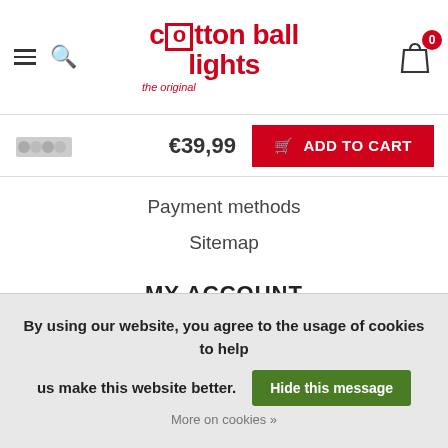cotton ball lights - the original | navigation header with cart showing 0 items
€39,99  ADD TO CART
Payment methods
Sitemap
MY ACCOUNT
Account information
My orders
My wishlist
Compare
By using our website, you agree to the usage of cookies to help us make this website better. Hide this message More on cookies »